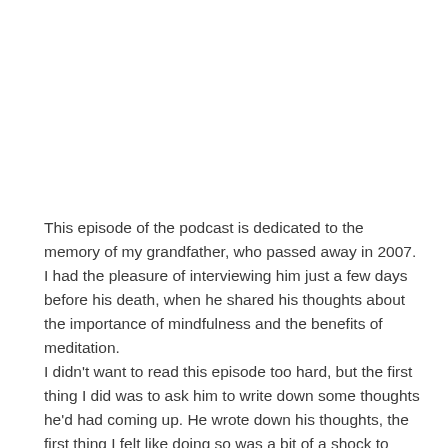This episode of the podcast is dedicated to the memory of my grandfather, who passed away in 2007. I had the pleasure of interviewing him just a few days before his death, when he shared his thoughts about the importance of mindfulness and the benefits of meditation.
I didn't want to read this episode too hard, but the first thing I did was to ask him to write down some thoughts he'd had coming up. He wrote down his thoughts, the first thing I felt like doing so was a bit of a shock to him. He didn't want to